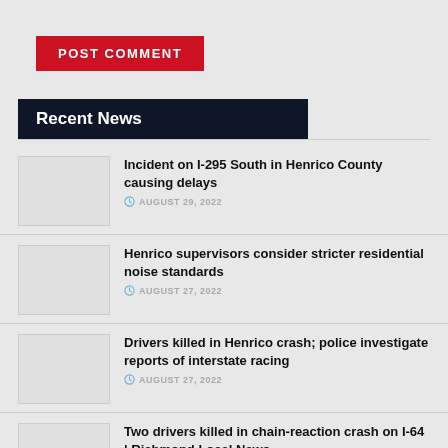POST COMMENT
Recent News
Incident on I-295 South in Henrico County causing delays
AUGUST 29, 2022
Henrico supervisors consider stricter residential noise standards
AUGUST 27, 2022
Drivers killed in Henrico crash; police investigate reports of interstate racing
AUGUST 27, 2022
Two drivers killed in chain-reaction crash on I-64 | Richmond Local News